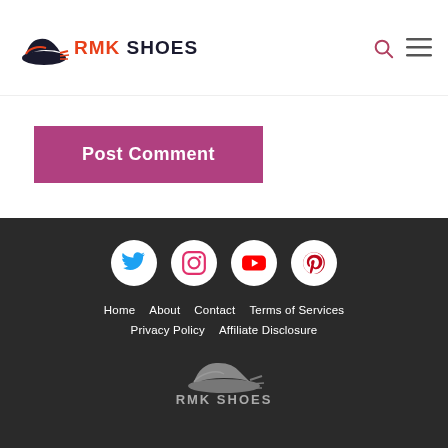RMK SHOES
Post Comment
[Figure (logo): RMK Shoes footer with social media icons (Twitter, Instagram, YouTube, Pinterest), navigation links (Home, About, Contact, Terms of Services, Privacy Policy, Affiliate Disclosure), and RMK Shoes logo]
Home  About  Contact  Terms of Services  Privacy Policy  Affiliate Disclosure  RMK SHOES